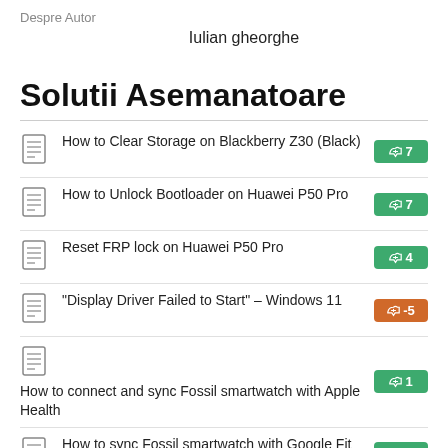Despre Autor
Iulian gheorghe
Solutii Asemanatoare
How to Clear Storage on Blackberry Z30 (Black)
How to Unlock Bootloader on Huawei P50 Pro
Reset FRP lock on Huawei P50 Pro
"Display Driver Failed to Start" – Windows 11
How to connect and sync Fossil smartwatch with Apple Health
How to sync Fossil smartwatch with Google Fit